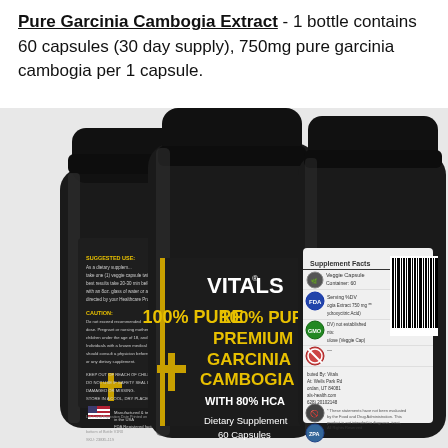Pure Garcinia Cambogia Extract - 1 bottle contains 60 capsules (30 day supply), 750mg pure garcinia cambogia per 1 capsule.
[Figure (photo): Three black supplement bottles with gold and white label text reading 'VITALS 100% PURE PREMIUM GARCINIA CAMBOGIA WITH 80% HCA Dietary Supplement 60 Capsules'. The center bottle faces front, the left bottle shows the back label with suggested use and caution text, and the right bottle shows the supplement facts panel with a barcode.]